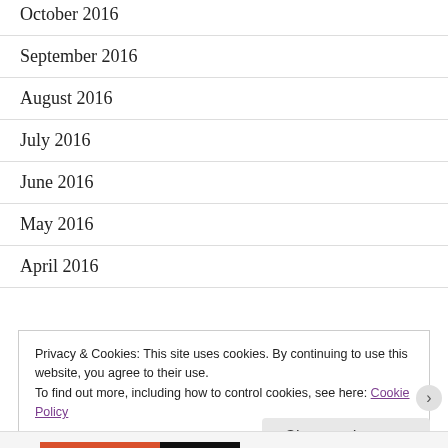October 2016
September 2016
August 2016
July 2016
June 2016
May 2016
April 2016
Privacy & Cookies: This site uses cookies. By continuing to use this website, you agree to their use.
To find out more, including how to control cookies, see here: Cookie Policy
Close and accept